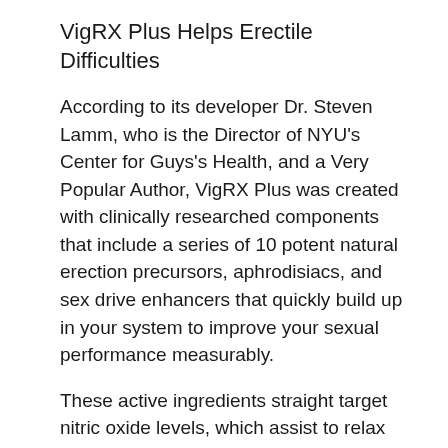VigRX Plus Helps Erectile Difficulties
According to its developer Dr. Steven Lamm, who is the Director of NYU's Center for Guys's Health, and a Very Popular Author, VigRX Plus was created with clinically researched components that include a series of 10 potent natural erection precursors, aphrodisiacs, and sex drive enhancers that quickly build up in your system to improve your sexual performance measurably.
These active ingredients straight target nitric oxide levels, which assist to relax the smooth muscle tissue of the corpus cavernosa, the two long round tubes in the penis, and its associated arterioles to increase blood flow penis.